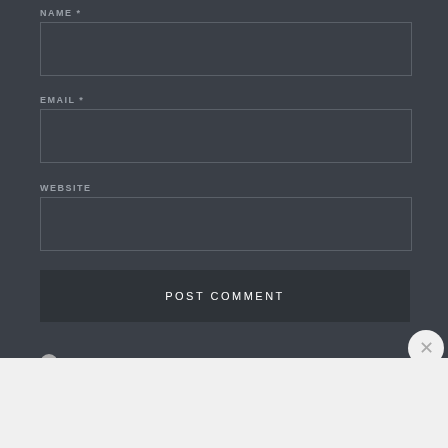NAME *
[Figure (screenshot): Empty text input field for Name]
EMAIL *
[Figure (screenshot): Empty text input field for Email]
WEBSITE
[Figure (screenshot): Empty text input field for Website]
POST COMMENT
Advertisements
[Figure (infographic): Advertisement banner: Create surveys, polls, quizzes, and forms. WordPress and Jetpack logos.]